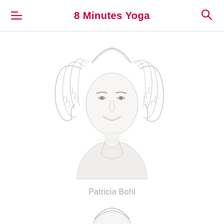8 Minutes Yoga
[Figure (illustration): Pencil sketch portrait of a woman with curly hair wearing a tank top, smiling]
Patricia Bohl
[Figure (illustration): Partial pencil sketch portrait of another person, visible from top of head only at bottom of page]